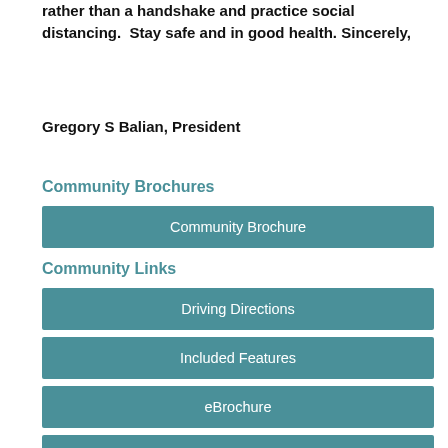rather than a handshake and practice social distancing.  Stay safe and in good health. Sincerely,
Gregory S Balian, President
Community Brochures
Community Brochure
Community Links
Driving Directions
Included Features
eBrochure
Interactive Site Plan
Email A Friend